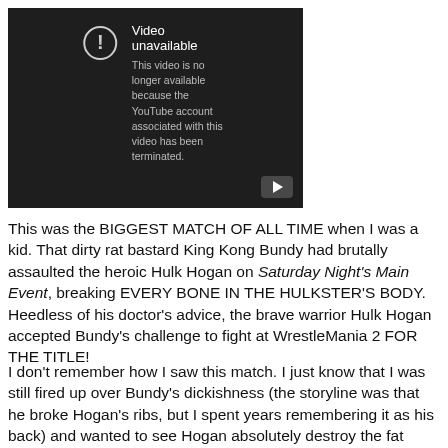[Figure (screenshot): YouTube 'Video unavailable' screenshot. Dark background with warning icon (circle with exclamation mark). Text reads: 'Video unavailable' and 'This video is no longer available because the YouTube account associated with this video has been terminated.' A play button icon is in the bottom-right corner.]
This was the BIGGEST MATCH OF ALL TIME when I was a kid. That dirty rat bastard King Kong Bundy had brutally assaulted the heroic Hulk Hogan on Saturday Night's Main Event, breaking EVERY BONE IN THE HULKSTER'S BODY. Heedless of his doctor's advice, the brave warrior Hulk Hogan accepted Bundy's challenge to fight at WrestleMania 2 FOR THE TITLE!
I don't remember how I saw this match. I just know that I was still fired up over Bundy's dickishness (the storyline was that he broke Hogan's ribs, but I spent years remembering it as his back) and wanted to see Hogan absolutely destroy the fat monster. What happened on that Saturday Night's